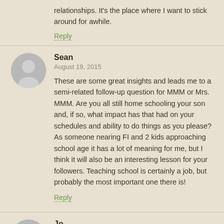relationships. It's the place where I want to stick around for awhile.
Reply
Sean
August 19, 2015
These are some great insights and leads me to a semi-related follow-up question for MMM or Mrs. MMM. Are you all still home schooling your son and, if so, what impact has that had on your schedules and ability to do things as you please? As someone nearing FI and 2 kids approaching school age it has a lot of meaning for me, but I think it will also be an interesting lesson for your followers. Teaching school is certainly a job, but probably the most important one there is!
Reply
Jo
August 19, 2015
I've lived in Chicago since 1980 and in this neighborhood since '98, when my kids were small. I'm now divorced, my kids are grown and I plan on moving to another city next